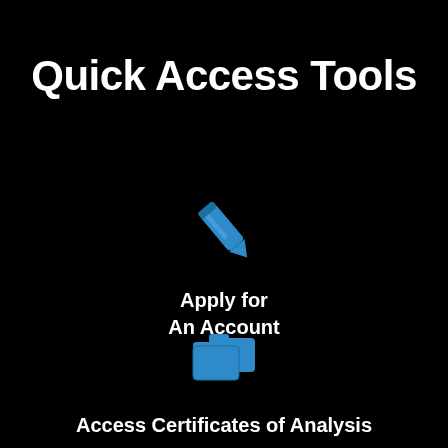Quick Access Tools
[Figure (illustration): Blue pencil/pen icon representing Apply for An Account]
Apply for An Account
[Figure (illustration): Blue folder/documents icon representing Access Certificates of Analysis]
Access Certificates of Analysis